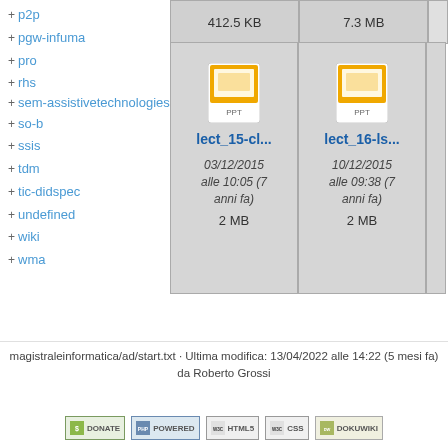+ p2p
+ pgw-infuma
+ pro
+ rhs
+ sem-assistivetechnologies
+ so-b
+ ssis
+ tdm
+ tic-didspec
+ undefined
+ wiki
+ wma
412.5 KB
7.3 MB
[Figure (screenshot): PPT file icon for lect_15-cl...]
lect_15-cl...
03/12/2015 alle 10:05 (7 anni fa)
2 MB
[Figure (screenshot): PPT file icon for lect_16-ls...]
lect_16-ls...
10/12/2015 alle 09:38 (7 anni fa)
2 MB
magistraleinformatica/ad/start.txt · Ultima modifica: 13/04/2022 alle 14:22 (5 mesi fa) da Roberto Grossi